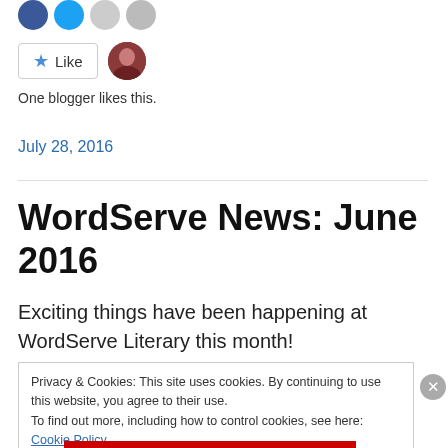[Figure (other): Social sharing icons: Facebook (blue circle), Twitter (light blue circle), and two grey circles]
[Figure (other): Like button with star icon, and a small circular avatar photo of a person]
One blogger likes this.
July 28, 2016
WordServe News: June 2016
Exciting things have been happening at WordServe Literary this month!
Privacy & Cookies: This site uses cookies. By continuing to use this website, you agree to their use.
To find out more, including how to control cookies, see here: Cookie Policy
Close and accept